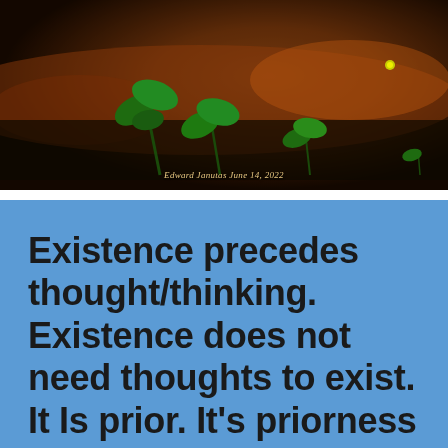[Figure (photo): Dark nature photograph showing green plant seedlings/leaves against a rusty orange-brown rocky or earthen background. Photo credit text reads 'Edward Janutas June 14, 2022' in italic cursive at the bottom center.]
Existence precedes thought/thinking. Existence does not need thoughts to exist. It Is prior. It's priorness is absolute. Existence is forever...